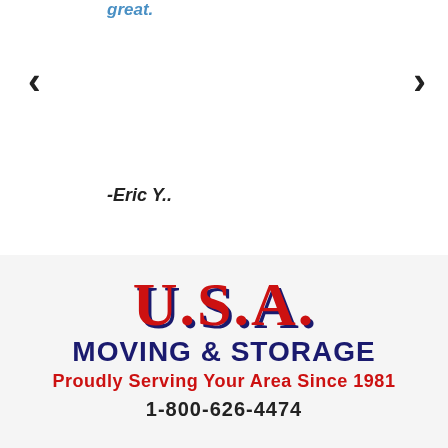great.
‹
›
-Eric Y..
[Figure (logo): U.S.A. Moving & Storage logo with text 'U.S.A.' in red with dark blue shadow, 'MOVING & STORAGE' in dark navy blue, 'Proudly Serving Your Area Since 1981' in red]
1-800-626-4474